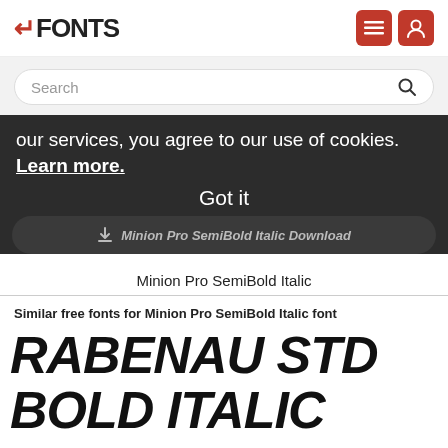FONTS
Search
our services, you agree to our use of cookies. Learn more.
Got it
Minion Pro SemiBold Italic Download
Minion Pro SemiBold Italic
Similar free fonts for Minion Pro SemiBold Italic font
RABENAU STD BOLD ITALIC